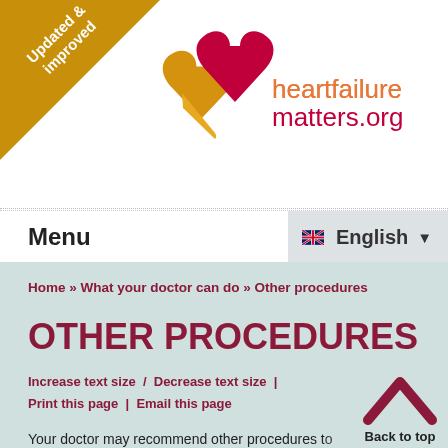[Figure (logo): heartfailurematters.org logo with two overlapping heart shapes in gold and red, and website name text]
[Figure (infographic): Corner banner triangle in gold/dark yellow with text 'Updated & improved']
Menu   English ▼
Home » What your doctor can do » Other procedures
OTHER PROCEDURES
Increase text size  /  Decrease text size  |  Print this page  |  Email this page
Your doctor may recommend other procedures to improve or investigate your heart failure. Click on any
[Figure (infographic): Back to top chevron arrow with text 'Back to top']